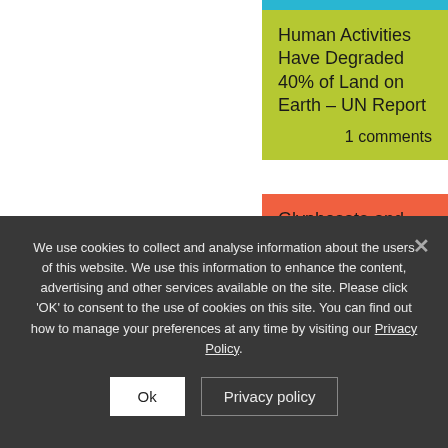Human Activities Have Degraded 40% of Land on Earth – UN Report
1 comments
Glyphosate and Roundup: All Roads Lead to Cancer – New Study
1 comments
Bob's Red Mill Faces Class Action Lawsuit over Glyphosate Weedkiller Contamination
1 comments
Latest Tweets
We use cookies to collect and analyse information about the users of this website. We use this information to enhance the content, advertising and other services available on the site. Please click 'OK' to consent to the use of cookies on this site. You can find out how to manage your preferences at any time by visiting our Privacy Policy.